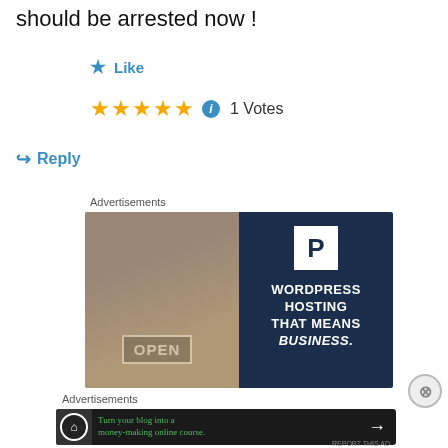should be arrested now !
★ Like
★★★★★ ℹ 1 Votes
↪ Reply
Advertisements
[Figure (illustration): Advertisement banner for WordPress Hosting showing a woman holding an OPEN sign (left side, photo) and dark navy right side with WordPress 'P' logo and text: WORDPRESS HOSTING THAT MEANS BUSINESS.]
Advertisements
[Figure (illustration): Dark advertisement banner: Turn your blog into a money-making online course. with arrow button.]